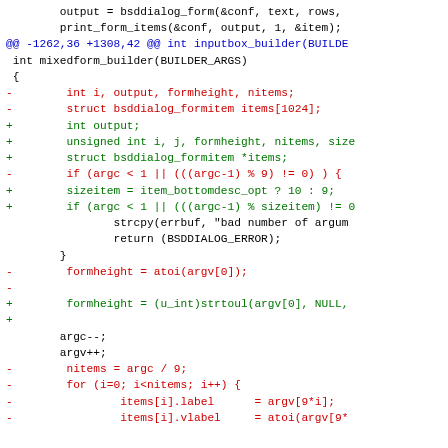[Figure (screenshot): A code diff view showing changes to mixedform_builder function in C, with red lines for removals and green lines for additions, and blue diff header line. Black text for unchanged code context.]